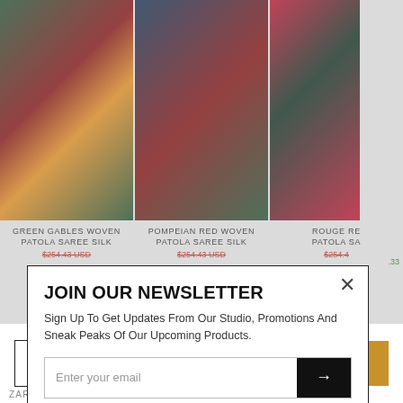[Figure (photo): Green Gables Woven Patola Saree Silk product photo showing dark green and maroon saree with orange border]
[Figure (photo): Pompeian Red Woven Patola Saree Silk product photo showing navy blue and red saree]
[Figure (photo): Rouge Red Woven Patola Saree partially visible product photo]
GREEN GABLES WOVEN PATOLA SAREE SILK
$254.43 USD
POMPEIAN RED WOVEN PATOLA SAREE SILK
$254.43 USD
ROUGE RE... PATOLA SA...
$254.4...
JOIN OUR NEWSLETTER
Sign Up To Get Updates From Our Studio, Promotions And Sneak Peaks Of Our Upcoming Products.
Enter your email
Write a review
ADD TO CART
BUY IT NOW
ZARI BANARAS